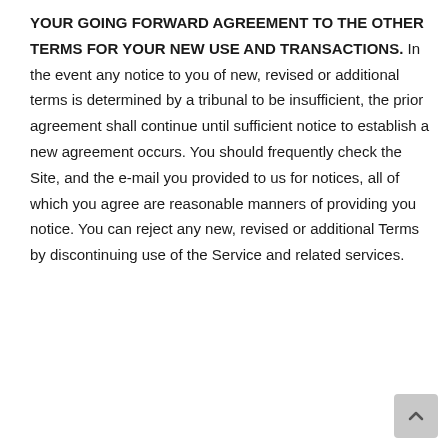YOUR GOING FORWARD AGREEMENT TO THE OTHER TERMS FOR YOUR NEW USE AND TRANSACTIONS. In the event any notice to you of new, revised or additional terms is determined by a tribunal to be insufficient, the prior agreement shall continue until sufficient notice to establish a new agreement occurs. You should frequently check the Site, and the e-mail you provided to us for notices, all of which you agree are reasonable manners of providing you notice. You can reject any new, revised or additional Terms by discontinuing use of the Service and related services.